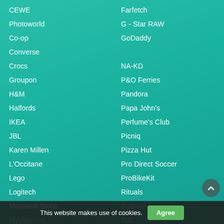CEWE
Photoworld
Co-op
Converse
Crocs
Groupon
H&M
Halfords
IKEA
JBL
Karen Millen
L'Occitane
Lego
Logitech
Microsoft Store
Myvitamins
Notino
Farfetch
G - Star RAW
GoDaddy
NA-KD
P&O Ferries
Pandora
Papa John's
Perfume's Club
Picniq
Pizza Hut
Pro Direct Soccer
ProBikeKit
Rituals
Ryanair
TUI
This website makes use of cookies.